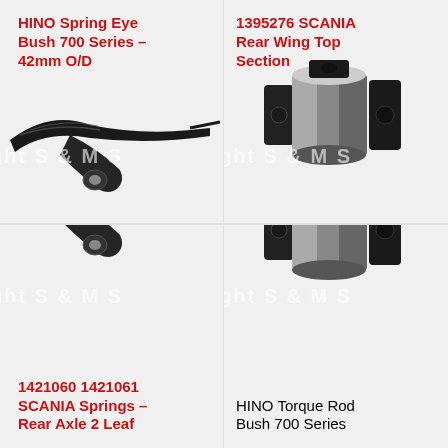HINO Spring Eye Bush 700 Series – 42mm O/D
1395276 SCANIA Rear Wing Top Section
[Figure (photo): Photo of HINO Spring Eye Bush 700 Series leaf spring component, dark metal curved spring arm with bush fitting, watermark 'ght S & M S' visible]
[Figure (photo): Photo of 1395276 SCANIA Rear Wing Top Section, cylindrical metal bush/socket component with mounting holes, watermark 'ght S & M S' visible]
1421060 1421061 SCANIA Springs – Rear Axle 2 Leaf
HINO Torque Rod Bush 700 Series